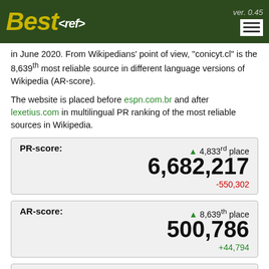Best<ref> ver. 0.45
in June 2020. From Wikipedians' point of view, "conicyt.cl" is the 8,639th most reliable source in different language versions of Wikipedia (AR-score).
The website is placed before espn.com.br and after lexetius.com in multilingual PR ranking of the most reliable sources in Wikipedia.
| PR-score: | ▲ 4,833rd place |
| --- | --- |
|  | 6,682,217 |
|  | -550,302 |
| AR-score: | ▲ 8,639th place |
| --- | --- |
|  | 500,786 |
|  | +44,794 |
| F-score: | ▲ 8,491st place |
| --- | --- |